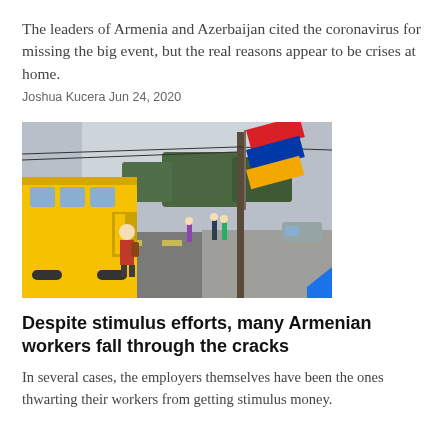The leaders of Armenia and Azerbaijan cited the coronavirus for missing the big event, but the real reasons appear to be crises at home.
Joshua Kucera Jun 24, 2020
[Figure (photo): Street scene showing a yellow bus on the left, pedestrians on a sidewalk, an Armenian flag (red, blue, orange) waving from a pole, and a utility pole on the right. Urban setting with overcast sky and trees in the background.]
Despite stimulus efforts, many Armenian workers fall through the cracks
In several cases, the employers themselves have been the ones thwarting their workers from getting stimulus money.